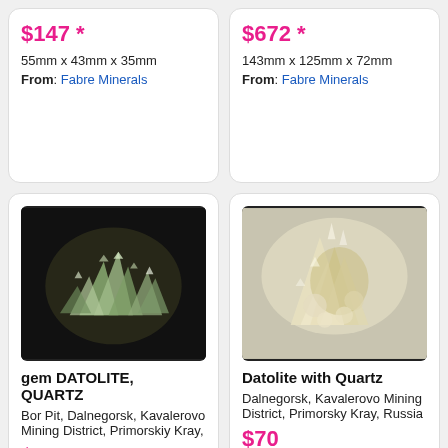$147 *
55mm x 43mm x 35mm
From: Fabre Minerals
$672 *
143mm x 125mm x 72mm
From: Fabre Minerals
[Figure (photo): Green gem datolite and quartz crystal cluster on black background]
gem DATOLITE, QUARTZ
Bor Pit, Dalnegorsk, Kavalerovo Mining District, Primorskiy Kray,
$200
62mm x 52mm x 35mm
[Figure (photo): Yellowish-white datolite with quartz crystal cluster on white background]
Datolite with Quartz
Dalnegorsk, Kavalerovo Mining District, Primorsky Kray, Russia
$70
92mm x 61mm x 28mm